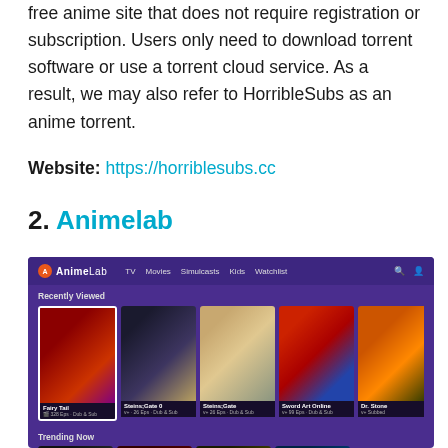free anime site that does not require registration or subscription. Users only need to download torrent software or use a torrent cloud service. As a result, we may also refer to HorribleSubs as an anime torrent.
Website: https://horriblesubs.cc
2. Animelab
[Figure (screenshot): Screenshot of the AnimeLab website showing a dark purple interface with navigation bar (TV, Movies, Simulcasts, Kids, Watchlist), a 'Recently Viewed' section with anime cards (Fairy Tail, Steins;Gate 0, Steins;Gate, Sword Art Online, Dr. Stone, Attack on Titan), and a 'Trending Now' section below.]